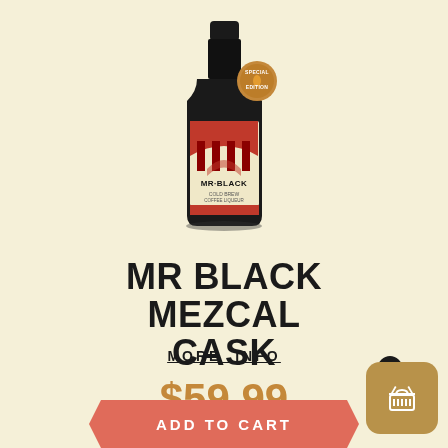[Figure (photo): Mr Black Mezcal Cask coffee liqueur bottle with red and black label featuring an archway/temple design, 'SPECIAL EDITION' gold medallion seal on the neck, dark square bottle shape]
MR BLACK MEZCAL CASK
MORE INFO
$59.99
ADD TO CART